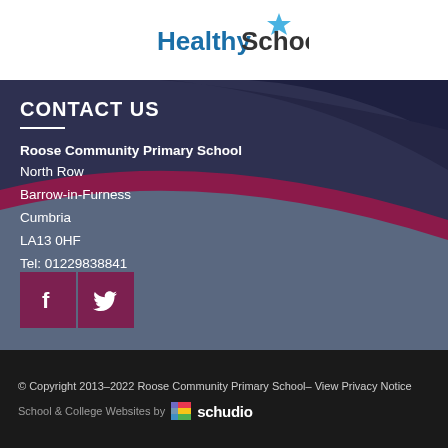[Figure (logo): Healthy Schools logo with blue star icon and bold text 'HealthySchools']
CONTACT US
Roose Community Primary School
North Row
Barrow-in-Furness
Cumbria
LA13 0HF
Tel: 01229838841
[Figure (logo): Social media icons: Facebook (f) and Twitter (bird) on dark purple/maroon square backgrounds]
© Copyright 2013–2022 Roose Community Primary School– View Privacy Notice
School & College Websites by schudio